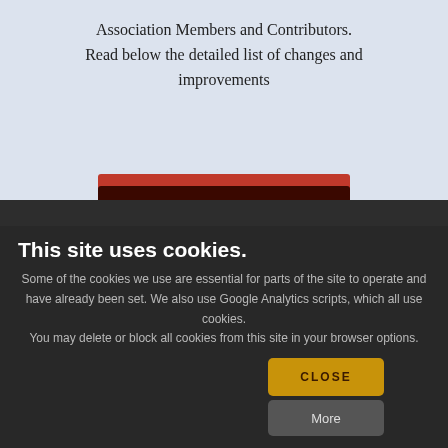Association Members and Contributors. Read below the detailed list of changes and improvements
LOG IN
This site uses cookies.
Some of the cookies we use are essential for parts of the site to operate and have already been set. We also use Google Analytics scripts, which all use cookies. You may delete or block all cookies from this site in your browser options.
Free Download
CLOSE
More
Forma LMS 3.1